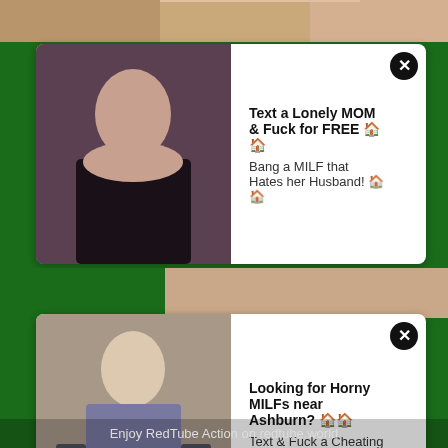[Figure (screenshot): Top partial image strip showing partial body image]
[Figure (screenshot): Ad card 1: Woman in black top photo, with text 'Text a Lonely MOM & Fuck for FREE' and 'Bang a MILF that Hates her Husband!' with close button]
[Figure (screenshot): Ad card 2: Woman sitting in chair photo, with text 'Looking for Horny MILFs near Ashburn?' and 'Text & Fuck a Cheating MOM Near You' with close button]
[Figure (screenshot): Social share buttons row: WeChat (green), Reddit (orange), Facebook (blue), Twitter (light blue), SMS (yellow), Share (green), VK (blue-grey), Pinterest (red)]
Trends
redheadwinter porn, jaasrenee, ejaywoods, undefined, rajasthani sex village desi beeg rajasthan with audio, purejillma5, opensex video s, nora fatehi sex video india, spo0pykitten, disha patani xxx sex, manifestmary, sairaspooks porn, assam debojani boro guwahati beltola janapatha boday sex porn movies, bad_barbiexox, 88fuck-tube, xnxx work in jammu kashmir, yong brother and sister xnxx, morganalexandraaa, indianbeeg com, therealbambib00, mouthporn-tube, xvideos bangladesh jaypurhat girls and boy sex video xnxx bd, nsfwmonster-tube, nigro big cock beeg, littlemissloon, ninaxcarolina, nudeyoungporn-tube, naked winter swimming, tphd porn videohtml, thickasscelebrity, dedecita, kannada film actress girl xxx sex videos watching, eimi fukanda, porno gratis shmalles, indian pergnsi sex, sherlyn chopra xxx sex videos, slutforbbc98, porn porn free porn sexy milf hq porn sauna free porn indian hot sex 5 star hotelerotica for women five star hotel erotica for women five star hotel, xxx porno video downlod, vtrahe.com,
Enjoy RedTube Action on redtube.world